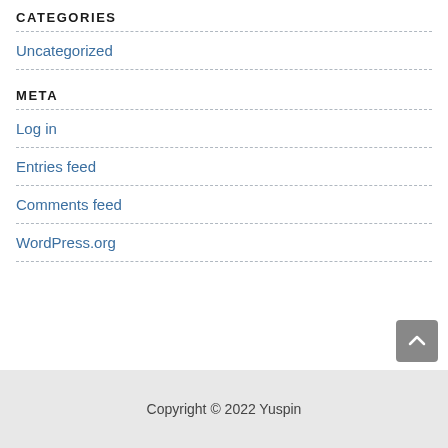CATEGORIES
Uncategorized
META
Log in
Entries feed
Comments feed
WordPress.org
Copyright © 2022 Yuspin